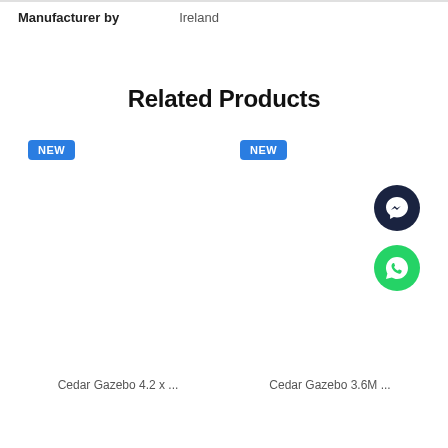| Manufacturer by |  |
| --- | --- |
| Manufacturer by | Ireland |
Related Products
[Figure (photo): Photo of a cedar wood gazebo pergola with arched roof structure, outdoor table and chairs on a patio. Has a NEW badge in blue.]
[Figure (photo): Photo of a cedar wood gazebo near a lake/pond with green grass and trees. Has a NEW badge in blue, plus Messenger and WhatsApp floating icons.]
Cedar Gazebo 4.2 x ...
Cedar Gazebo 3.6M ...